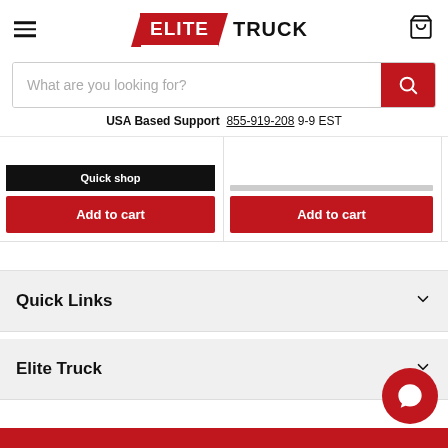[Figure (logo): Elite Truck logo with red badge for ELITE and bold black text TRUCK]
What are you looking for?
USA Based Support  855-919-208 9-9 EST
Quick shop
Add to cart
Add to cart
Quick Links
Elite Truck